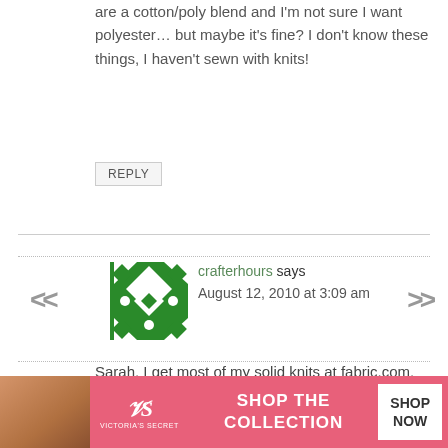are a cotton/poly blend and I'm not sure I want polyester… but maybe it's fine? I don't know these things, I haven't sewn with knits!
REPLY
crafterhours says
August 12, 2010 at 3:09 am
Sarah, I get most of my solid knits at fabric.com. It's free shipping over $35 (which is way too easy to reach :) They're always having sales and discounts too. Sometimes cotton/poly blends can be really nice – they tend to have a better drape, but they can also be too stretchy or thin fo...
[Figure (screenshot): Victoria's Secret advertisement banner at bottom of page with model photo, VS logo, 'SHOP THE COLLECTION' text, and 'SHOP NOW' button]